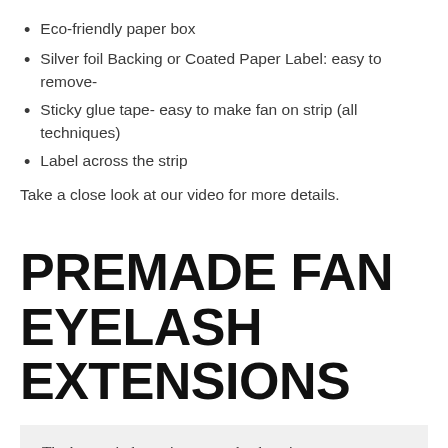Eco-friendly paper box
Silver foil Backing or Coated Paper Label: easy to remove-
Sticky glue tape- easy to make fan on strip (all techniques)
Label across the strip
Take a close look at our video for more details.
PREMADE FAN EYELASH EXTENSIONS
The beauty industry is constantly changing.